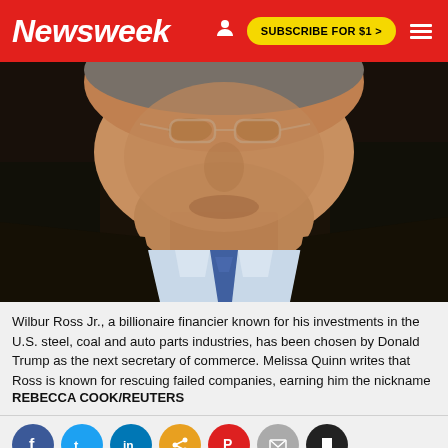Newsweek — SUBSCRIBE FOR $1 >
[Figure (photo): Close-up portrait photo of Wilbur Ross Jr., an elderly man in a dark suit and blue tie, viewed from chin to chest, against a dark background.]
Wilbur Ross Jr., a billionaire financier known for his investments in the U.S. steel, coal and auto parts industries, has been chosen by Donald Trump as the next secretary of commerce. Melissa Quinn writes that Ross is known for rescuing failed companies, earning him the nickname the "King of Bankruptcies."
REBECCA COOK/REUTERS
[Figure (infographic): Social media sharing buttons: Facebook (blue), Twitter (light blue), LinkedIn (blue), share/settings (orange), save (red), email (grey), bookmark (black)]